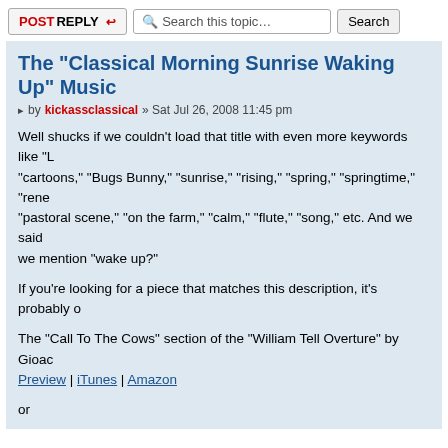POSTREPLY | Search this topic… | Search
The "Classical Morning Sunrise Waking Up" Music
by kickassclassical » Sat Jul 26, 2008 11:45 pm
Well shucks if we couldn't load that title with even more keywords like "L... "cartoons," "Bugs Bunny," "sunrise," "rising," "spring," "springtime," "rene... "pastoral scene," "on the farm," "calm," "flute," "song," etc. And we said ... we mention "wake up?"
If you're looking for a piece that matches this description, it's probably o...
The "Call To The Cows" section of the "William Tell Overture" by Gioac...
Preview | iTunes | Amazon
or
"Morning Mood" by Edvard Grieg
Preview | iTunes | Amazon
We mention both because they sound strikingly similar to the untrained e... used interchangeably as musical cues to signify morning - and to set the... day - in a myriad of movies, TV shows and cartoons (usually accompani... birds chirping or a rooster crow).